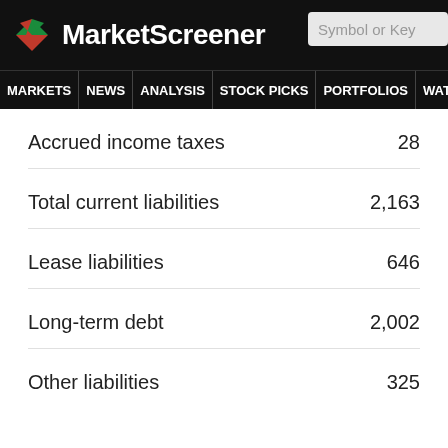MarketScreener
MARKETS NEWS ANALYSIS STOCK PICKS PORTFOLIOS WATCHLI
| Item | Value |
| --- | --- |
| Accrued income taxes | 28 |
| Total current liabilities | 2,163 |
| Lease liabilities | 646 |
| Long-term debt | 2,002 |
| Other liabilities | 325 |